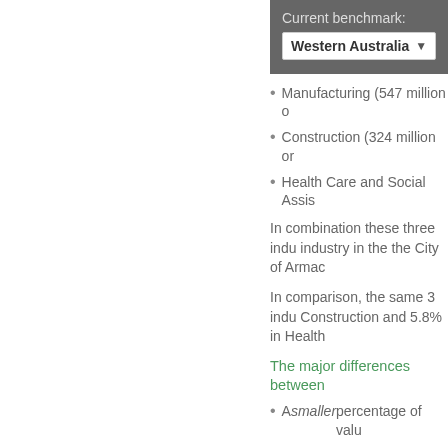Current benchmark:
Western Australia
Manufacturing (547 million o...
Construction (324 million or ...
Health Care and Social Assis...
In combination these three indu... industry in the the City of Armac...
In comparison, the same 3 indu... Construction and 5.8% in Health...
The major differences between
A smaller percentage of valu...
A larger percentage of value...
A larger percentage of value...
A larger percentage of value...
Emerging groups
The total value added by indust...